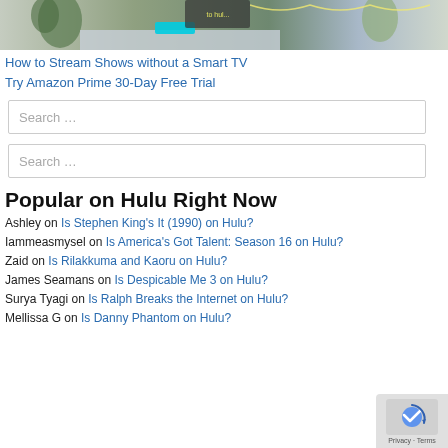[Figure (photo): Partial photo of a decorated room with plants, lights, and festive decor on a shelf/mantle.]
How to Stream Shows without a Smart TV
Try Amazon Prime 30-Day Free Trial
Search …
Search …
Popular on Hulu Right Now
Ashley on Is Stephen King's It (1990) on Hulu?
Iammeasmysel on Is America's Got Talent: Season 16 on Hulu?
Zaid on Is Rilakkuma and Kaoru on Hulu?
James Seamans on Is Despicable Me 3 on Hulu?
Surya Tyagi on Is Ralph Breaks the Internet on Hulu?
Mellissa G on Is Danny Phantom on Hulu?